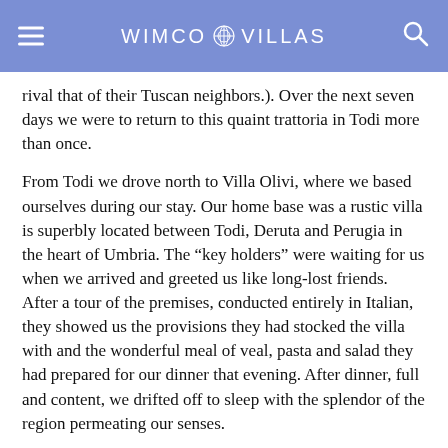WIMCO VILLAS
rival that of their Tuscan neighbors.). Over the next seven days we were to return to this quaint trattoria in Todi more than once.
From Todi we drove north to Villa Olivi, where we based ourselves during our stay. Our home base was a rustic villa is superbly located between Todi, Deruta and Perugia in the heart of Umbria. The “key holders” were waiting for us when we arrived and greeted us like long-lost friends. After a tour of the premises, conducted entirely in Italian, they showed us the provisions they had stocked the villa with and the wonderful meal of veal, pasta and salad they had prepared for our dinner that evening. After dinner, full and content, we drifted off to sleep with the splendor of the region permeating our senses.